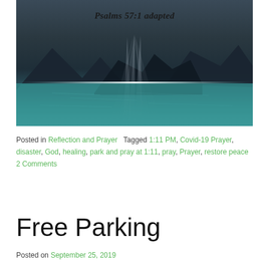[Figure (photo): Landscape photo of a mountain lake with dramatic light rays breaking through dark storm clouds over mountains, illuminating teal/turquoise water. Text overlay reads 'Psalms 57:1 adapted' in bold italic.]
Posted in Reflection and Prayer   Tagged 1:11 PM, Covid-19 Prayer, disaster, God, healing, park and pray at 1:11, pray, Prayer, restore peace   2 Comments
Free Parking
Posted on September 25, 2019